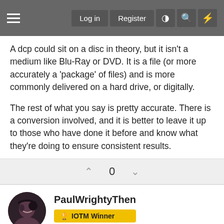Log in  Register
A dcp could sit on a disc in theory, but it isn't a medium like Blu-Ray or DVD. It is a file (or more accurately a 'package' of files) and is more commonly delivered on a hard drive, or digitally.
The rest of what you say is pretty accurate. There is a conversion involved, and it is better to leave it up to those who have done it before and know what they're doing to ensure consistent results.
0
PaulWrightyThen
IOTM Winner
Enjoying the site? It's easy to register, even with your social media login! And you will be able to access more content. Click Here to register now!